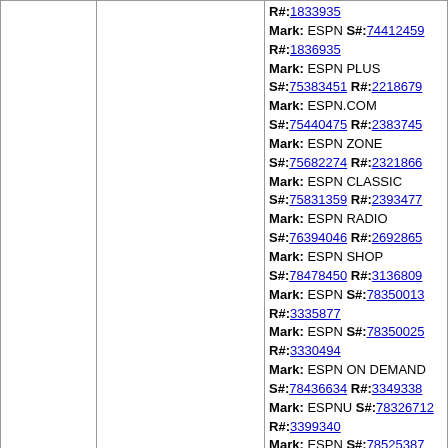| Serial/Date | Applicant/Mark | Owner |
| --- | --- | --- |
|  |  | R#:1833935
Mark: ESPN S#:74412459
R#:1836935
Mark: ESPN PLUS S#:75383451 R#:2218679
Mark: ESPN.COM S#:75440475 R#:2383745
Mark: ESPN ZONE S#:75682274 R#:2321866
Mark: ESPN CLASSIC S#:75831359 R#:2393477
Mark: ESPN RADIO S#:76394046 R#:2692865
Mark: ESPN SHOP S#:78478450 R#:3136809
Mark: ESPN S#:78350013 R#:3335877
Mark: ESPN S#:78350025 R#:3330494
Mark: ESPN ON DEMAND S#:78436634 R#:3349338
Mark: ESPNU S#:78326712 R#:3399340
Mark: ESPN S#:78525387 R#:3545075
Mark: ESPN3 S#:85551006 R#:4256644 |
| 87703255
05/31/2018 | ESP GAMING LLC
Mark: ESP GAMING ESP S#:87703255 | ESPN, Inc. |